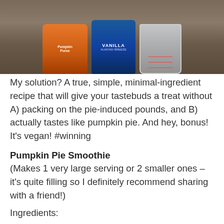[Figure (photo): Photo of pumpkin puree cans and measuring cup on a kitchen counter with granite surface. Left can is orange (pumpkin), center is blue (Vanilla), right is a glass measuring cup.]
My solution? A true, simple, minimal-ingredient recipe that will give your tastebuds a treat without A) packing on the pie-induced pounds, and B) actually tastes like pumpkin pie. And hey, bonus! It's vegan! #winning
Pumpkin Pie Smoothie
(Makes 1 very large serving or 2 smaller ones – it's quite filling so I definitely recommend sharing with a friend!)
Ingredients:
1 cup pureed pumpkin (not pumpkin pie mix – I use Libby's)
1 1/4 cup unsweetened vanilla Almond Breeze almond milk (or milk of choice)